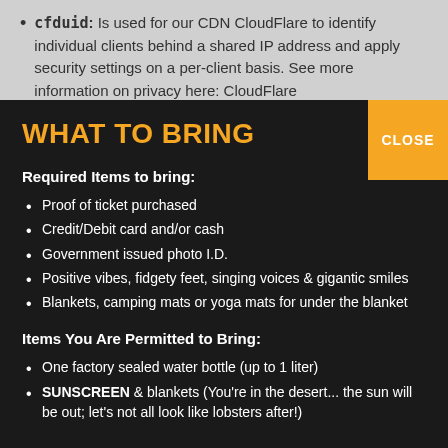cfduid: Is used for our CDN CloudFlare to identify individual clients behind a shared IP address and apply security settings on a per-client basis. See more information on privacy here: CloudFlare
WHAT TO BRING
Required Items to bring:
Proof of ticket purchased
Credit/Debit card and/or cash
Government issued photo I.D.
Positive vibes, fidgety feet, singing voices & gigantic smiles
Blankets, camping mats or yoga mats for under the blanket
Items You Are Permitted to Bring:
One factory sealed water bottle (up to 1 liter)
SUNSCREEN & blankets (You're in the desert... the sun will be out; let's not all look like lobsters after!)